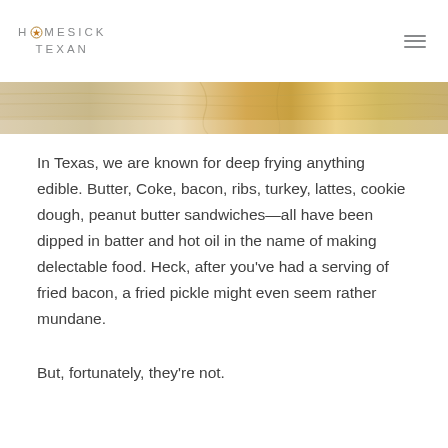HOMESICK TEXAN
[Figure (photo): Close-up photo of a wooden cutting board or wooden surface with warm golden-brown tones, partially cropped at the top of the article.]
In Texas, we are known for deep frying anything edible. Butter, Coke, bacon, ribs, turkey, lattes, cookie dough, peanut butter sandwiches—all have been dipped in batter and hot oil in the name of making delectable food. Heck, after you've had a serving of fried bacon, a fried pickle might even seem rather mundane.
But, fortunately, they're not.